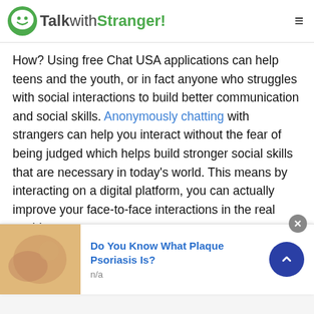TalkwithStranger!
How? Using free Chat USA applications can help teens and the youth, or in fact anyone who struggles with social interactions to build better communication and social skills. Anonymously chatting with strangers can help you interact without the fear of being judged which helps build stronger social skills that are necessary in today’s world. This means by interacting on a digital platform, you can actually improve your face-to-face interactions in the real world.
Tadzhik Chat USA : A Way to Combat Loneliness
[Figure (infographic): Advertisement banner: image of skin condition on left, bold blue text 'Do You Know What Plaque Psoriasis Is?', subtext 'n/a', dark blue circular arrow button on right, close X button top right]
[Figure (infographic): Teal/cyan scroll-to-top button with upward chevron arrow overlaid on section heading]